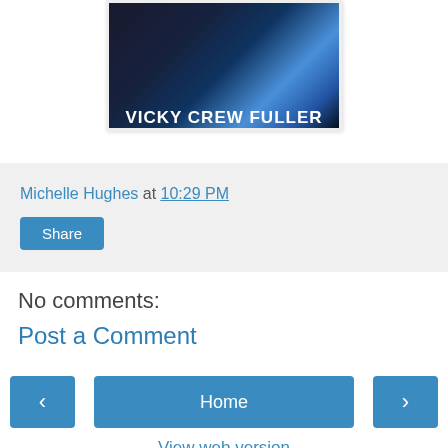[Figure (photo): Book cover image with dark blue background and text 'VICKY CREW FULLER' in white letters]
Michelle Hughes at 10:29 PM
Share
No comments:
Post a Comment
Home
View web version
Powered by Blogger.